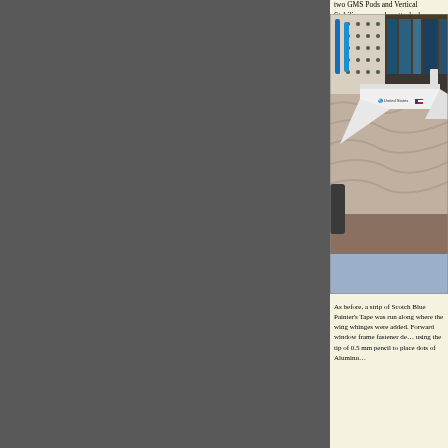two GMS Pods and Vertical Stabilizer were also attached.
[Figure (photo): Photo of a white Space Shuttle model (labeled 'United States') resting on a towel on a workbench, with pegboard and pens visible in the background and books on a shelf.]
As before, a strip of Scotch Blue Painter's Tape was run along where the wing hinges were added. Forward window frame fastener detail was added using the tip of 0.5 mm pencil to place dots of Aluminum